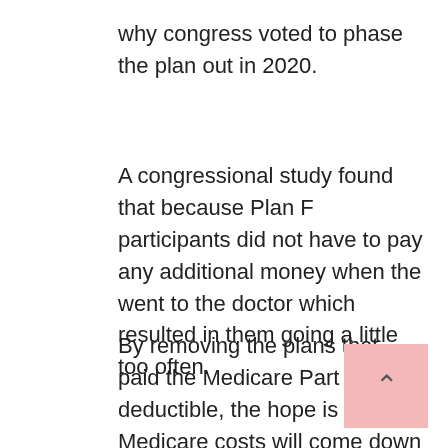why congress voted to phase the plan out in 2020.
A congressional study found that because Plan F participants did not have to pay any additional money when the went to the doctor which resulted in them going a little too often.
By removing the plans that paid the Medicare Part B deductible, the hope is that Medicare costs will come down a bit from unnecessary doctors visits.